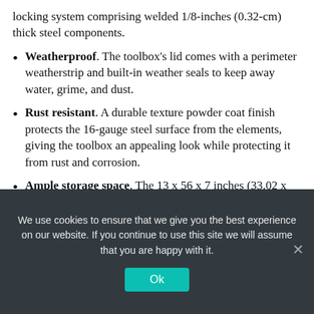locking system comprising welded 1/8-inches (0.32-cm) thick steel components.
Weatherproof. The toolbox’s lid comes with a perimeter weatherstrip and built-in weather seals to keep away water, grime, and dust.
Rust resistant. A durable texture powder coat finish protects the 16-gauge steel surface from the elements, giving the toolbox an appealing look while protecting it from rust and corrosion.
Ample storage space. The 13 x 56 x 7 inches (33.02 x 142.24 x 17.78 cm) storage box provides two cubic feet of tool storage space. You can use it
We use cookies to ensure that we give you the best experience on our website. If you continue to use this site we will assume that you are happy with it.